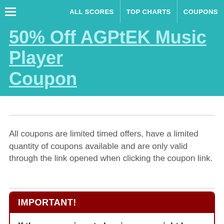ALL SCORES  TOP CHARTS  COUPONS
50% Off AGPtEK Music Player Coupon
All coupons are limited timed offers, have a limited quantity of coupons available and are only valid through the link opened when clicking the coupon link.
IMPORTANT!
If the coupon is not showing, you might be using an Ad-Blocker and/or Pop-Up Blocker that is impeding the coupon to show up. Turn